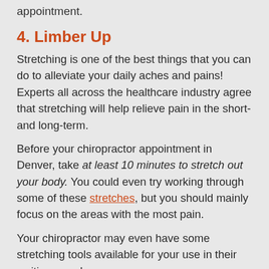appointment.
4. Limber Up
Stretching is one of the best things that you can do to alleviate your daily aches and pains! Experts all across the healthcare industry agree that stretching will help relieve pain in the short- and long-term.
Before your chiropractor appointment in Denver, take at least 10 minutes to stretch out your body. You could even try working through some of these stretches, but you should mainly focus on the areas with the most pain.
Your chiropractor may even have some stretching tools available for your use in their waiting room!
5. Avoid Sitting On Your Wallet
Most men tend to place their wallets in one